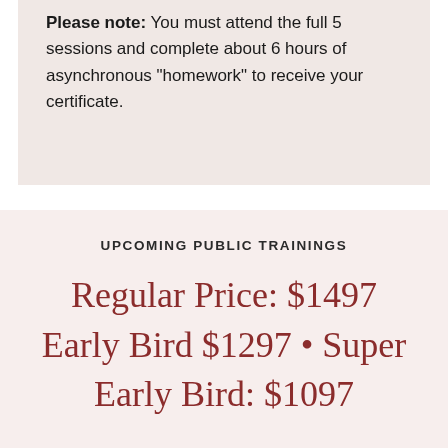Please note: You must attend the full 5 sessions and complete about 6 hours of asynchronous "homework" to receive your certificate.
UPCOMING PUBLIC TRAININGS
Regular Price: $1497 Early Bird $1297 • Super Early Bird: $1097